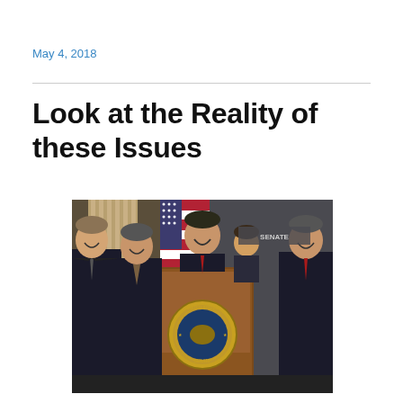May 4, 2018
Look at the Reality of these Issues
[Figure (photo): Group of suited men laughing at a United States Senate podium, one man standing at the microphone in the center, with an American flag and ornate column in the background. The podium displays the United States Senate seal.]